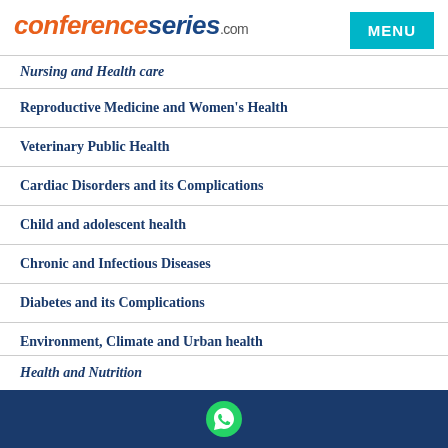conferenceseries.com
Nursing and Health care
Reproductive Medicine and Women's Health
Veterinary Public Health
Cardiac Disorders and its Complications
Child and adolescent health
Chronic and Infectious Diseases
Diabetes and its Complications
Environment, Climate and Urban health
Epidemiology and Public Health
Health and Nutrition